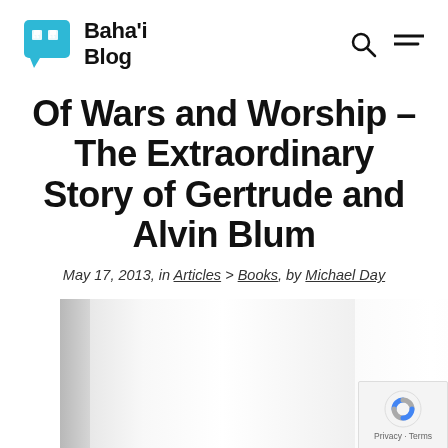Baha'i Blog
Of Wars and Worship – The Extraordinary Story of Gertrude and Alvin Blum
May 17, 2013, in Articles > Books, by Michael Day
[Figure (photo): A book cover photo showing a white/grey book spine with text, partially visible. A reCAPTCHA/privacy widget is shown in the bottom right corner.]